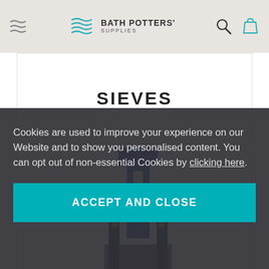Bath Potters' Supplies
SIEVES
[Figure (photo): A blue metal sieve stand/vibrator machine photographed against a white background, partially visible with the bottom obscured by a cookie consent overlay.]
Cookies are used to improve your experience on our Website and to show you personalised content. You can opt out of non-essential Cookies by clicking here.
ACCEPT AND CLOSE